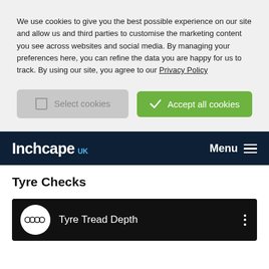We use cookies to give you the best possible experience on our site and allow us and third parties to customise the marketing content you see across websites and social media. By managing your preferences here, you can refine the data you are happy for us to track. By using our site, you agree to our Privacy Policy
[Figure (screenshot): Two buttons: 'Select cookies' (grey) and 'Accept all cookies' (green)]
[Figure (screenshot): Inchcape UK navigation bar with Menu and hamburger icon on dark navy background]
Tyre Checks
[Figure (screenshot): Video thumbnail showing Audi rings logo and title 'Tyre Tread Depth' on black background with three-dot menu]